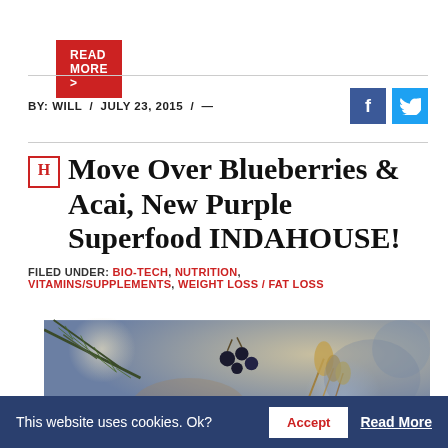READ MORE >
BY: WILL / JULY 23, 2015 / —
Move Over Blueberries & Acai, New Purple Superfood INDAHOUSE!
FILED UNDER: BIO-TECH, NUTRITION, VITAMINS/SUPPLEMENTS, WEIGHT LOSS / FAT LOSS
[Figure (photo): Close-up nature photo of dark berries on branches with blurred bokeh background]
This website uses cookies. Ok? Accept Read More